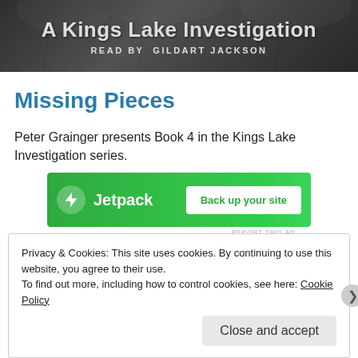[Figure (illustration): Header banner with dark tree/nature background showing title 'A Kings Lake Investigation' and subtitle 'READ BY GILDART JACKSON']
Missing Pieces
Peter Grainger presents Book 4 in the Kings Lake Investigation series.
[Figure (screenshot): Jetpack advertisement banner with green background showing Jetpack logo and 'Back up your site' button]
REPORT THIS AD
Note: Peter Grainger's newest police procedural brings
Privacy & Cookies: This site uses cookies. By continuing to use this website, you agree to their use.
To find out more, including how to control cookies, see here: Cookie Policy
Close and accept